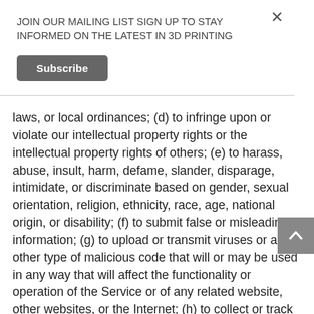JOIN OUR MAILING LIST SIGN UP TO STAY INFORMED ON THE LATEST IN 3D PRINTING
Subscribe
laws, or local ordinances; (d) to infringe upon or violate our intellectual property rights or the intellectual property rights of others; (e) to harass, abuse, insult, harm, defame, slander, disparage, intimidate, or discriminate based on gender, sexual orientation, religion, ethnicity, race, age, national origin, or disability; (f) to submit false or misleading information; (g) to upload or transmit viruses or any other type of malicious code that will or may be used in any way that will affect the functionality or operation of the Service or of any related website, other websites, or the Internet; (h) to collect or track the personal information of others; (i) to spam, phish, pharm, pretext, spider, crawl, or scrape; (j) for any obscene or immoral purpose; or (k) to interfere with or circumvent the security features of the Service or any related website, other websites, or the Internet. We reserve the right to terminate your use of the Service or any